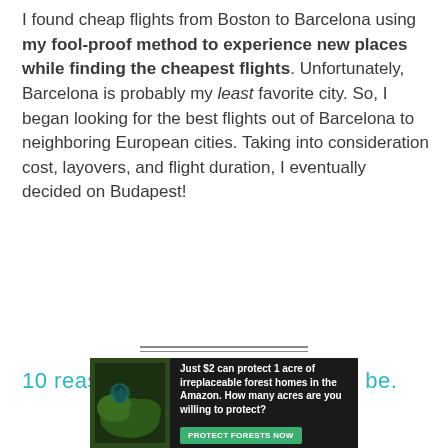I found cheap flights from Boston to Barcelona using my fool-proof method to experience new places while finding the cheapest flights. Unfortunately, Barcelona is probably my least favorite city. So, I began looking for the best flights out of Barcelona to neighboring European cities. Taking into consideration cost, layovers, and flight duration, I eventually decided on Budapest!
10 reasons why budapest should be.
[Figure (infographic): Advertisement banner: forest/Amazon conservation ad. Text: 'Just $2 can protect 1 acre of irreplaceable forest homes in the Amazon. How many acres are you willing to protect?' with a green 'PROTECT FORESTS NOW' button and a dark background with bird/nature imagery.]